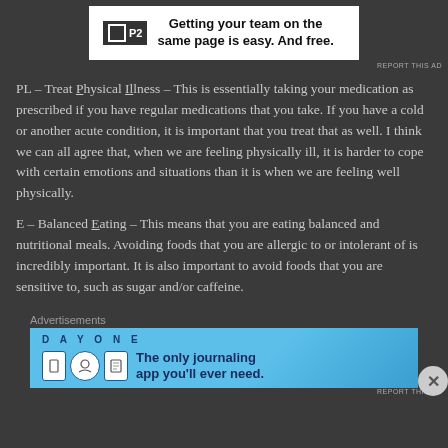[Figure (other): Advertisement banner: P2 logo with text 'Getting your team on the same page is easy. And free.']
REPORT THIS AD
PL – Treat Physical Illness – This is essentially taking your medication as prescribed if you have regular medications that you take. If you have a cold or another acute condition, it is important that you treat that as well. I think we can all agree that, when we are feeling physically ill, it is harder to cope with certain emotions and situations than it is when we are feeling well physically.
E – Balanced Eating – This means that you are eating balanced and nutritional meals. Avoiding foods that you are allergic to or intolerant of is incredibly important. It is also important to avoid foods that you are sensitive to, such as sugar and/or caffeine.
Advertisements
[Figure (other): Advertisement banner for Day One journaling app: 'The only journaling app you'll ever need.']